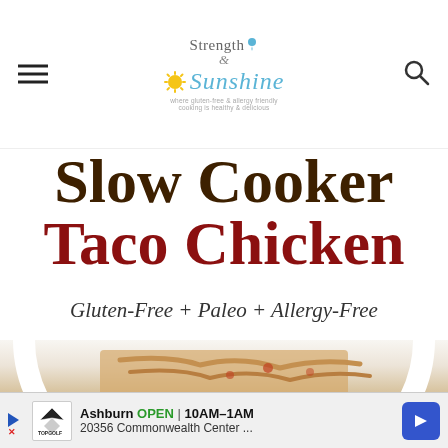Strength & Sunshine - where gluten-free & allergy-friendly cooking is healthy & delicious
Slow Cooker Taco Chicken
Gluten-Free + Paleo + Allergy-Free
[Figure (photo): A white bowl containing slow cooker taco chicken - shredded chicken with tomatoes]
Ashburn OPEN 10AM–1AM 20356 Commonwealth Center ...